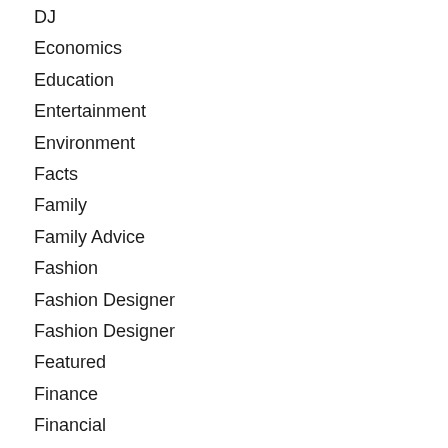DJ
Economics
Education
Entertainment
Environment
Facts
Family
Family Advice
Fashion
Fashion Designer
Fashion Designer
Featured
Finance
Financial
Food